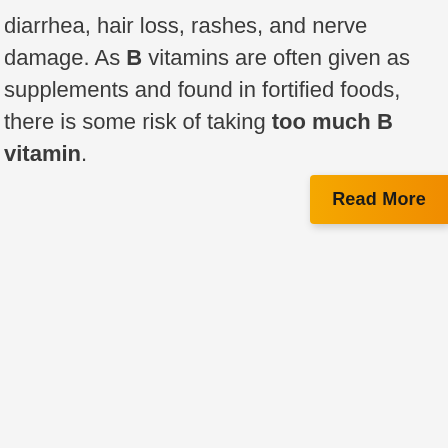diarrhea, hair loss, rashes, and nerve damage. As B vitamins are often given as supplements and found in fortified foods, there is some risk of taking too much B vitamin.
Read More